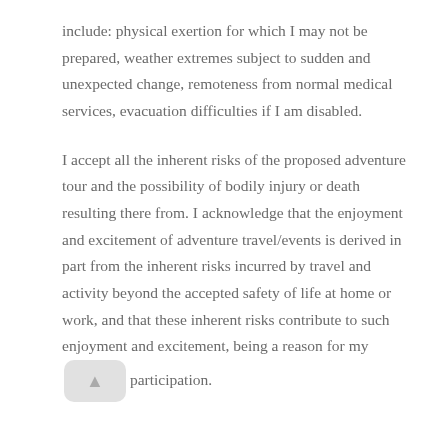include: physical exertion for which I may not be prepared, weather extremes subject to sudden and unexpected change, remoteness from normal medical services, evacuation difficulties if I am disabled.
I accept all the inherent risks of the proposed adventure tour and the possibility of bodily injury or death resulting there from. I acknowledge that the enjoyment and excitement of adventure travel/events is derived in part from the inherent risks incurred by travel and activity beyond the accepted safety of life at home or work, and that these inherent risks contribute to such enjoyment and excitement, being a reason for my participation.